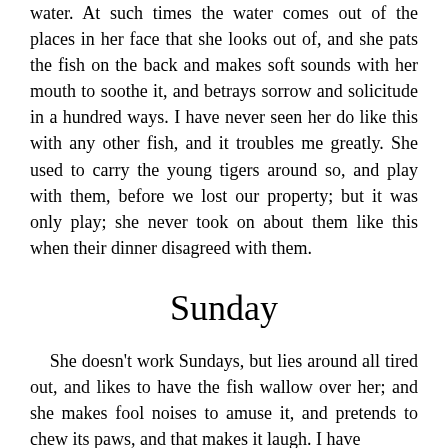water. At such times the water comes out of the places in her face that she looks out of, and she pats the fish on the back and makes soft sounds with her mouth to soothe it, and betrays sorrow and solicitude in a hundred ways. I have never seen her do like this with any other fish, and it troubles me greatly. She used to carry the young tigers around so, and play with them, before we lost our property; but it was only play; she never took on about them like this when their dinner disagreed with them.
Sunday
She doesn't work Sundays, but lies around all tired out, and likes to have the fish wallow over her; and she makes fool noises to amuse it, and pretends to chew its paws, and that makes it laugh. I have